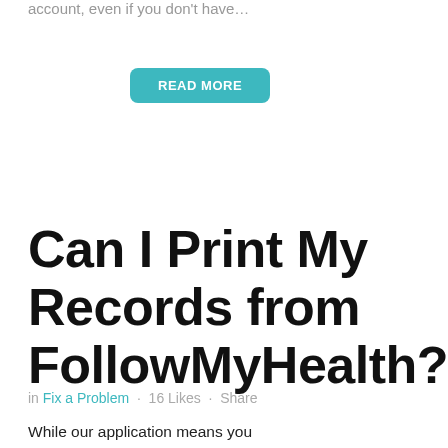account, even if you don't have…
READ MORE
Can I Print My Records from FollowMyHealth?
in Fix a Problem · 16 Likes · Share
While our application means you can always have access to your